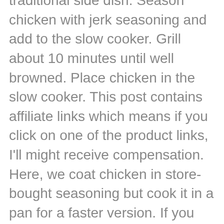traditional side dish. Season chicken with jerk seasoning and add to the slow cooker. Grill about 10 minutes until well browned. Place chicken in the slow cooker. This post contains affiliate links which means if you click on one of the product links, I'll might receive compensation. Here, we coat chicken in store-bought seasoning but cook it in a pan for a faster version. If you don't own a grill, then jerk chicken in the slow cooker or oven will pass muster. Jerk is a spice, it's a seasoning, it's a marinade, but for me jerk is a Jamaican style of cooking that involves either dry rubbing or wet marinating meat like pork, fish, or chicken with a fiery scotch bonnet pepper based spice mix and cooking over a hot fire using native Jamaican pimento wood. Cover and cook until chicken is cooked through about 2 hours on HIGH or 4 hours on LOW. What if you want authentic jerk chicken?